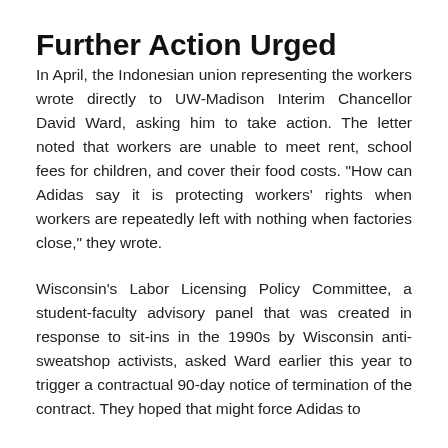Further Action Urged
In April, the Indonesian union representing the workers wrote directly to UW-Madison Interim Chancellor David Ward, asking him to take action. The letter noted that workers are unable to meet rent, school fees for children, and cover their food costs. "How can Adidas say it is protecting workers' rights when workers are repeatedly left with nothing when factories close," they wrote.
Wisconsin's Labor Licensing Policy Committee, a student-faculty advisory panel that was created in response to sit-ins in the 1990s by Wisconsin anti-sweatshop activists, asked Ward earlier this year to trigger a contractual 90-day notice of termination of the contract. They hoped that might force Adidas to